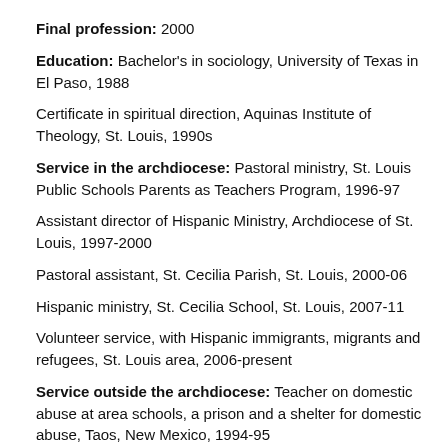Final profession: 2000
Education: Bachelor's in sociology, University of Texas in El Paso, 1988
Certificate in spiritual direction, Aquinas Institute of Theology, St. Louis, 1990s
Service in the archdiocese: Pastoral ministry, St. Louis Public Schools Parents as Teachers Program, 1996-97
Assistant director of Hispanic Ministry, Archdiocese of St. Louis, 1997-2000
Pastoral assistant, St. Cecilia Parish, St. Louis, 2000-06
Hispanic ministry, St. Cecilia School, St. Louis, 2007-11
Volunteer service, with Hispanic immigrants, migrants and refugees, St. Louis area, 2006-present
Service outside the archdiocese: Teacher on domestic abuse at area schools, a prison and a shelter for domestic abuse, Taos, New Mexico, 1994-95